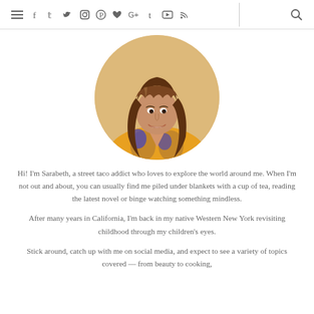Navigation bar with social media icons: menu, facebook, twitter, instagram, pinterest, heart, google+, tumblr, youtube, rss, divider, search
[Figure (photo): Circular portrait photo of a young woman with long wavy brown hair, smiling, wearing a yellow floral dress, against a warm beige background.]
Hi! I'm Sarabeth, a street taco addict who loves to explore the world around me. When I'm not out and about, you can usually find me piled under blankets with a cup of tea, reading the latest novel or binge watching something mindless.
After many years in California, I'm back in my native Western New York revisiting childhood through my children's eyes.
Stick around, catch up with me on social media, and expect to see a variety of topics covered — from beauty to cooking,